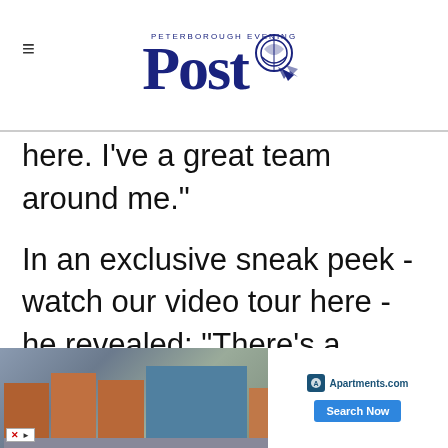Peterborough Evening Post
here. I've a great team around me."
In an exclusive sneak peek - watch our video tour here - he revealed: "There's a fantastic new welcome area as you come in. We've reconfigured and constructed the whole inside of the building, with a new slots and electronic gaming area, leading through to our new lounge and bar, which is modern and contemporary,
"Our gaming area is completely refitted. We have                                                    e to
[Figure (photo): Advertisement banner for Apartments.com showing a brick and glass apartment building exterior with a 'Search Now' button]